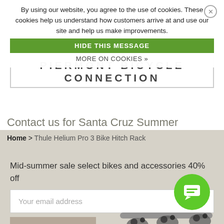By using our website, you agree to the use of cookies. These cookies help us understand how customers arrive at and use our site and help us make improvements.
HIDE THIS MESSAGE
MORE ON COOKIES »
PIERMONT BICYCLE CONNECTION
Contact us for Santa Cruz Summer
Home > Thule Helium Pro 3 Bike Hitch Rack
Mid-summer sale select bikes and accessories 40% off
Your email address
SUBSCRIBE
View our PRIVACY POLICY and TERMS AND CONDITIONS
[Figure (photo): Thule bike hitch rack product photo showing a 3-bike hitch mount rack in silver/grey with multiple bike cradles]